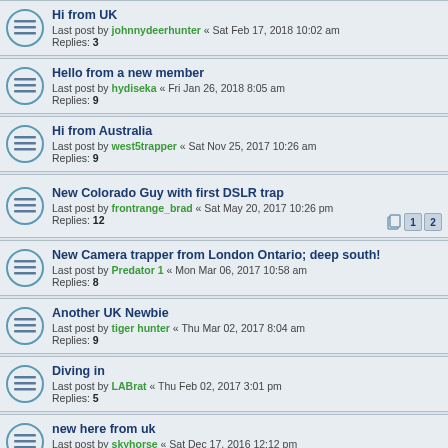Hi from UK
Last post by johnnydeerhunter « Sat Feb 17, 2018 10:02 am
Replies: 3
Hello from a new member
Last post by hydiseka « Fri Jan 26, 2018 8:05 am
Replies: 9
Hi from Australia
Last post by west5trapper « Sat Nov 25, 2017 10:26 am
Replies: 9
New Colorado Guy with first DSLR trap
Last post by frontrange_brad « Sat May 20, 2017 10:26 pm
Replies: 12
New Camera trapper from London Ontario; deep south!
Last post by Predator 1 « Mon Mar 06, 2017 10:58 am
Replies: 8
Another UK Newbie
Last post by tiger hunter « Thu Mar 02, 2017 8:04 am
Replies: 9
Diving in
Last post by LABrat « Thu Feb 02, 2017 3:01 pm
Replies: 5
new here from uk
Last post by skyhorse « Sat Dec 17, 2016 12:12 pm
Replies: 8
New guy from Wisconsin
Last post by hydiseka « Tue Oct 18, 2016 11:35 am
Replies: 20